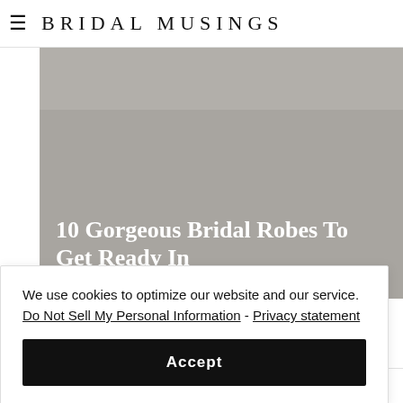BRIDAL MUSINGS
[Figure (photo): Gray concrete texture background image, partially visible at top]
[Figure (photo): Gray concrete texture background image with white text overlay reading '10 Gorgeous Bridal Robes To Get Ready In']
10 Gorgeous Bridal Robes To Get Ready In
We use cookies to optimize our website and our service.  Do Not Sell My Personal Information - Privacy statement
Accept
Enchanted Atelier Bridal Accessories For